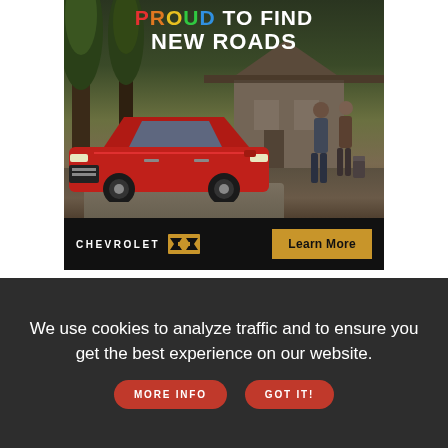[Figure (illustration): Chevrolet advertisement showing a red SUV parked in front of a cabin/house in a forest setting. Two people stand near the car with luggage. Text reads 'PROUD TO FIND NEW ROADS'. Bottom bar shows CHEVROLET logo with bowtie emblem and 'Learn More' button.]
The potential for abuse of such information has caught the attention of American authorities, who have expressed worry that foreign entities might exploit data of this sort and pose a national security risk, UK newspaper the Daily Mail noted.
[Figure (photo): Partial image of a forest scene visible at the bottom of the article section before the cookie banner overlaps.]
We use cookies to analyze traffic and to ensure you get the best experience on our website. MORE INFO GOT IT!